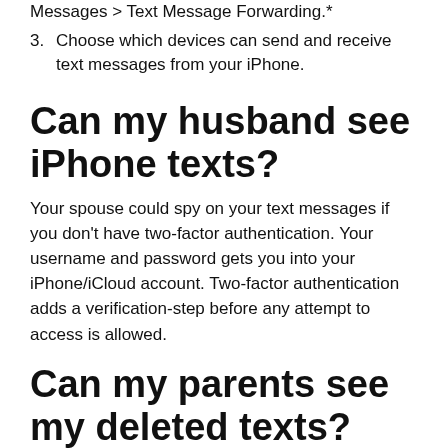Messages > Text Message Forwarding.*
3. Choose which devices can send and receive text messages from your iPhone.
Can my husband see iPhone texts?
Your spouse could spy on your text messages if you don't have two-factor authentication. Your username and password gets you into your iPhone/iCloud account. Two-factor authentication adds a verification-step before any attempt to access is allowed.
Can my parents see my deleted texts?